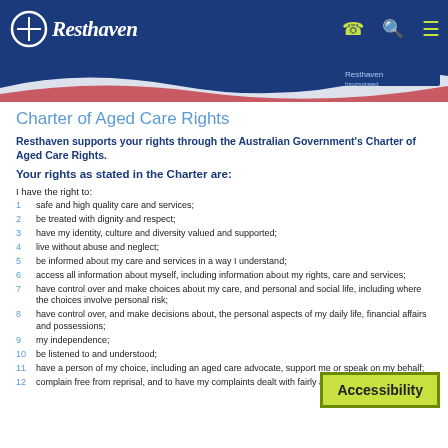Resthaven — navigation bar with logo, phone, search, and menu icons
[Figure (illustration): Resthaven banner with wave graphic and logo]
Charter of Aged Care Rights
Resthaven supports your rights through the Australian Government's Charter of Aged Care Rights.
Your rights as stated in the Charter are:
I have the right to:
safe and high quality care and services;
be treated with dignity and respect;
have my identity, culture and diversity valued and supported;
live without abuse and neglect;
be informed about my care and services in a way I understand;
access all information about myself, including information about my rights, care and services;
have control over and make choices about my care, and personal and social life, including where the choices involve personal risk;
have control over, and make decisions about, the personal aspects of my daily life, financial affairs and possessions;
my independence;
be listened to and understood;
have a person of my choice, including an aged care advocate, support me or speak on my behalf;
complain free from reprisal, and to have my complaints dealt with fairly and